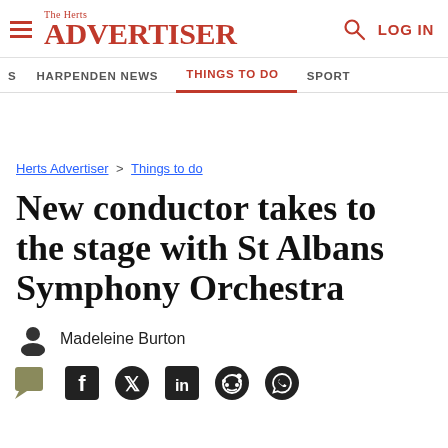The Herts Advertiser | LOG IN
HARPENDEN NEWS | THINGS TO DO | SPORT
Herts Advertiser > Things to do
New conductor takes to the stage with St Albans Symphony Orchestra
Madeleine Burton